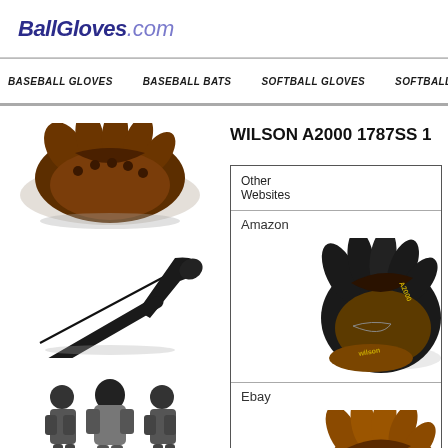BallGloves.com
BASEBALL GLOVES   BASEBALL BATS   SOFTBALL GLOVES   SOFTBALL BATS
[Figure (photo): Brown leather baseball glove open face up, left sidebar top]
[Figure (photo): Black baseball bat diagonal, left sidebar middle]
[Figure (photo): Baseball catcher equipment set (catcher's gear), left sidebar bottom]
WILSON A2000 1787SS 1
Other Websites
Amazon
[Figure (photo): Wilson A2000 black and brown baseball glove, right side Amazon listing]
Ebay
[Figure (photo): Brown leather baseball glove, right side Ebay listing]